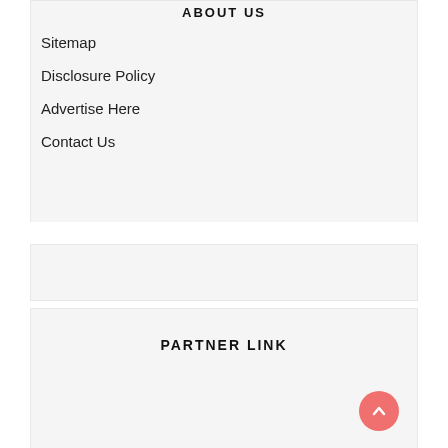ABOUT US
Sitemap
Disclosure Policy
Advertise Here
Contact Us
PARTNER LINK